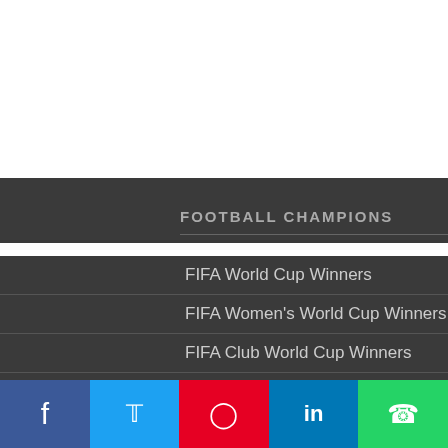FOOTBALL CHAMPIONS
FIFA World Cup Winners
FIFA Women's World Cup Winners
FIFA Club World Cup Winners
FIFA Confederations Cup Winners
FIFA Ballon d'Or Winners
Copa America Winners
AFC Asian Cup Winners
UEFA European Championship